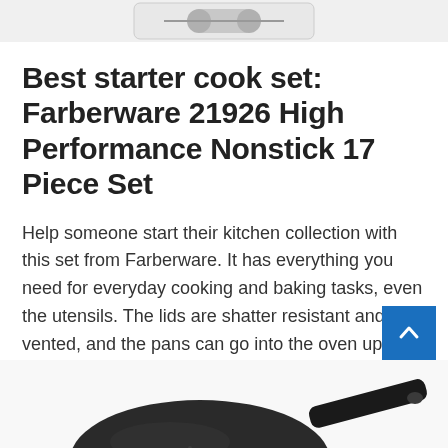[Figure (photo): Partial view of a cookware set product image at the top of the page, partially cropped]
Best starter cook set: Farberware 21926 High Performance Nonstick 17 Piece Set
Help someone start their kitchen collection with this set from Farberware. It has everything you need for everyday cooking and baking tasks, even the utensils. The lids are shatter resistant and vented, and the pans can go into the oven up to 350F.
$80 at Amazon
[Figure (photo): Partial view of a dark nonstick frying pan at the bottom of the page, partially cropped]